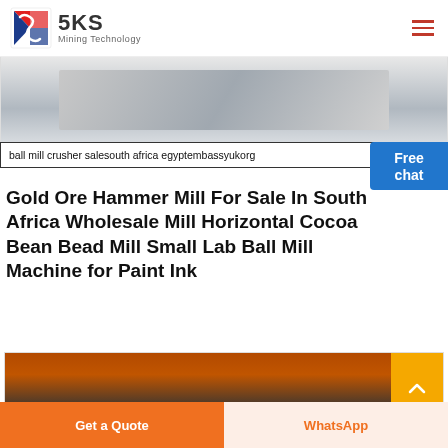SKS Mining Technology
[Figure (photo): Partial product image strip at top of page showing machinery against light background]
ball mill crusher salesouth africa egyptembassyukorg
Gold Ore Hammer Mill For Sale In South Africa Wholesale Mill Horizontal Cocoa Bean Bead Mill Small Lab Ball Mill Machine for Paint Ink
[Figure (photo): Second product image card showing orange/red industrial ball mill machinery]
Get Price
Get a Quote
WhatsApp